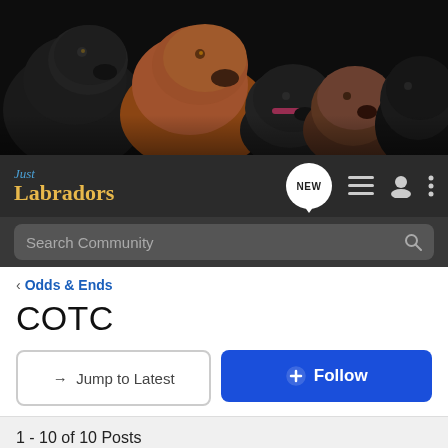[Figure (photo): Banner photo of multiple Labrador dogs (black, brown/golden, puppies) against a dark background]
Just Labradors — navigation bar with NEW chat bubble, list icon, user icon, more-options icon, and Search Community search bar
< Odds & Ends
COTC
→ Jump to Latest   + Follow
1 - 10 of 10 Posts
MidwestGirl · Registered
Joined Feb 12, 2009 · 26,306 Posts